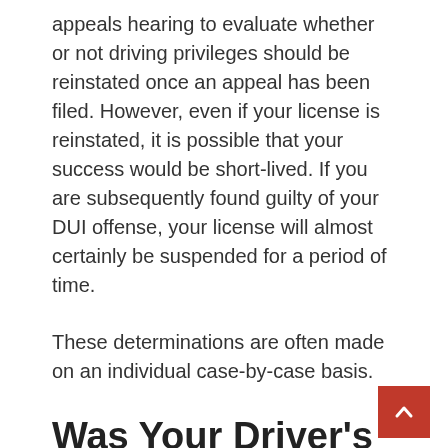appeals hearing to evaluate whether or not driving privileges should be reinstated once an appeal has been filed. However, even if your license is reinstated, it is possible that your success would be short-lived. If you are subsequently found guilty of your DUI offense, your license will almost certainly be suspended for a period of time.
These determinations are often made on an individual case-by-case basis.
Was Your Driver's Licensed Revoked? Ask an Attorney About Your Options